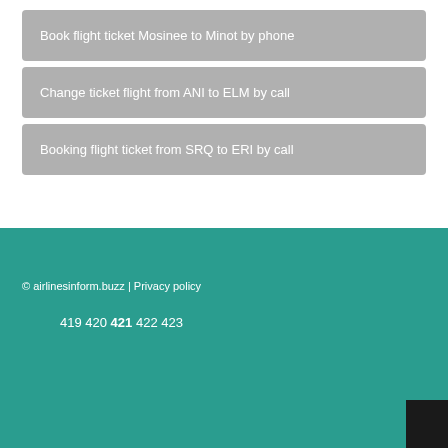Book flight ticket Mosinee to Minot by phone
Change ticket flight from ANI to ELM by call
Booking flight ticket from SRQ to ERI by call
© airlinesinform.buzz | Privacy policy
419 420 421 422 423